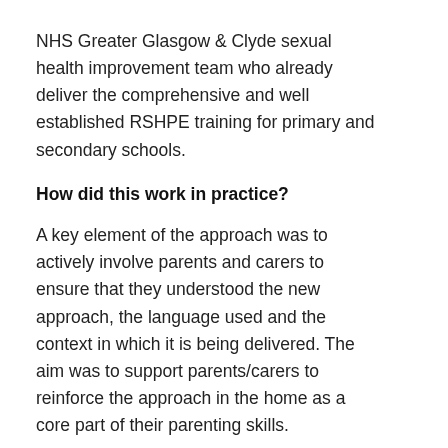NHS Greater Glasgow & Clyde sexual health improvement team who already deliver the comprehensive and well established RSHPE training for primary and secondary schools.
How did this work in practice?
A key element of the approach was to actively involve parents and carers to ensure that they understood the new approach, the language used and the context in which it is being delivered. The aim was to support parents/carers to reinforce the approach in the home as a core part of their parenting skills.
Information stalls were provided to raise awareness of the approach supported by parent workshops (sexual health). The workshops offered